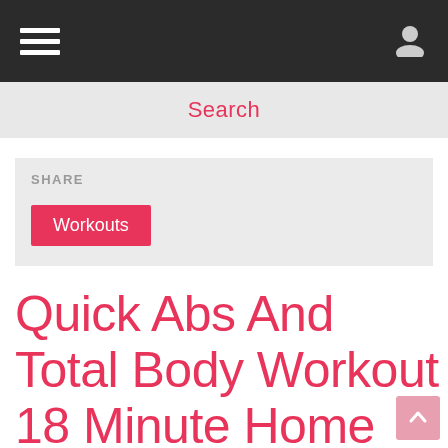Navigation bar with hamburger menu and user icon
Search
SHARE
Workouts
Quick Abs And Total Body Workout 18 Minute Home Exercises by...